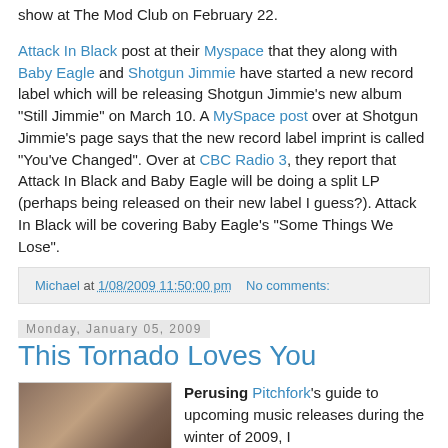show at The Mod Club on February 22.
Attack In Black post at their Myspace that they along with Baby Eagle and Shotgun Jimmie have started a new record label which will be releasing Shotgun Jimmie's new album "Still Jimmie" on March 10. A MySpace post over at Shotgun Jimmie's page says that the new record label imprint is called "You've Changed". Over at CBC Radio 3, they report that Attack In Black and Baby Eagle will be doing a split LP (perhaps being released on their new label I guess?). Attack In Black will be covering Baby Eagle's "Some Things We Lose".
Michael at 1/08/2009 11:50:00 pm   No comments:
Monday, January 05, 2009
This Tornado Loves You
[Figure (photo): A brown/amber colored dog or animal, partially visible, with dark background]
Perusing Pitchfork's guide to upcoming music releases during the winter of 2009, I